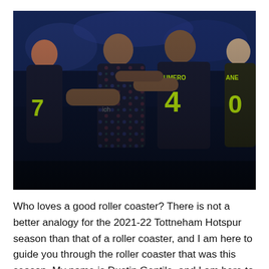[Figure (photo): Tottenham Hotspur players celebrating in black away kits with yellow numbers. Player wearing number 7 and player wearing number 4 (RUMERO) are visible embracing, along with player with KANE on their shirt partially visible on the right. Players are wearing dark blue/black jerseys with colorful pattern details.]
Who loves a good roller coaster? There is not a better analogy for the 2021-22 Tottneham Hotspur season than that of a roller coaster, and I am here to guide you through the roller coaster that was this season. My name is Dustin Gentile, and I am here to give you a breakdown...